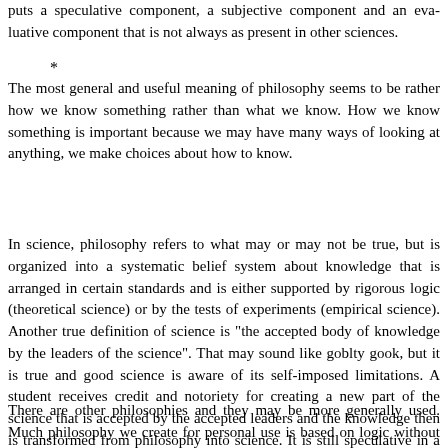puts a speculative component, a subjective component and an eva... not always as present in other sciences.
*
The most general and useful meaning of philosophy seems to be r... something rather than what we know. How we know something is... may have many ways of looking at anything, we make choices ab...
In science, philosophy refers to what may or may not be true, but... belief system about knowledge that is arranged in certain standar... supported by rigorous logic (theoretical science) or by the tests of... science). Another true definition of science is "the accepted body... leaders of the science". That may sound like goblty gook, but it is... science is aware of its self-imposed limitations. A student receives... creating a new part of the science that is accepted by the accepted... knowledge then is transformed from philosophy into science. It is... way, but it has been officially added to the tool chest of human sc... Science seems to focus more on repeatability and less on theoreti... The point of this is that science is a philosophy. It is a way we kn... believe it". A main purpose of science is to explain things. It has b... depend on for much of human progress and ultimately survival.
There are other philosophies and they may be more generally use... create for personal use is based on logic without ever approaching... to really show. As we said to make sense something must be...